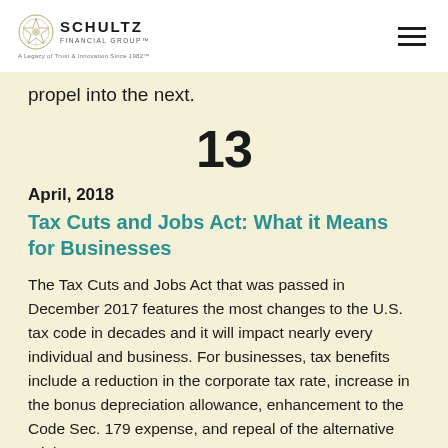SCHULTZ FINANCIAL GROUP — A Legacy of Trust & Innovation Since 1982
propel into the next.
13
April, 2018
Tax Cuts and Jobs Act: What it Means for Businesses
The Tax Cuts and Jobs Act that was passed in December 2017 features the most changes to the U.S. tax code in decades and it will impact nearly every individual and business. For businesses, tax benefits include a reduction in the corporate tax rate, increase in the bonus depreciation allowance, enhancement to the Code Sec. 179 expense, and repeal of the alternative minimum tax.